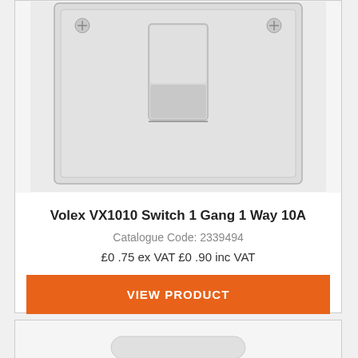[Figure (photo): Photo of Volex VX1010 white plastic single gang light switch with rocker toggle, shown from the front on a light grey background]
Volex VX1010 Switch 1 Gang 1 Way 10A
Catalogue Code: 2339494
£0.75 ex VAT £0.90 inc VAT
VIEW PRODUCT
[Figure (photo): Partial view of another product card below, showing the top portion of a white electrical product on grey background]